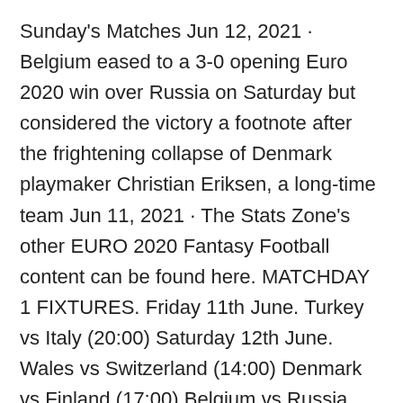Sunday's Matches Jun 12, 2021 · Belgium eased to a 3-0 opening Euro 2020 win over Russia on Saturday but considered the victory a footnote after the frightening collapse of Denmark playmaker Christian Eriksen, a long-time team Jun 11, 2021 · The Stats Zone's other EURO 2020 Fantasy Football content can be found here. MATCHDAY 1 FIXTURES. Friday 11th June. Turkey vs Italy (20:00) Saturday 12th June. Wales vs Switzerland (14:00) Denmark vs Finland (17:00) Belgium vs Russia (20:00) Sunday 13th June. England vs Croatia (14:00) Austria vs North Macedonia (17:00) Netherlands vs Ukraine · Report as Romelu Lukaku nets his 19th and 20th competitive international goals from his last 15 games as Belgium kick-off Euro 2020 campaign with a 3-0 win over Russia; Thomas Meunier also on · The Group B tie of Euro 2020 between Denmark and